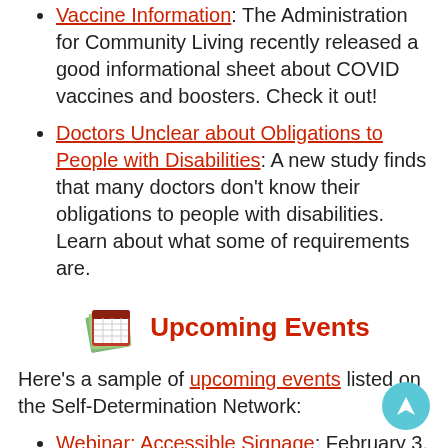Vaccine Information: The Administration for Community Living recently released a good informational sheet about COVID vaccines and boosters. Check it out!
Doctors Unclear about Obligations to People with Disabilities: A new study finds that many doctors don't know their obligations to people with disabilities. Learn about what some of requirements are.
Upcoming Events
Here's a sample of upcoming events listed on the Self-Determination Network:
Webinar: Accessible Signage: February 3, 1:30p.m. To 3p.m., Online
Disability Advocacy Day Of Change: March 15, Online
2022 National Self-Direction Conference: